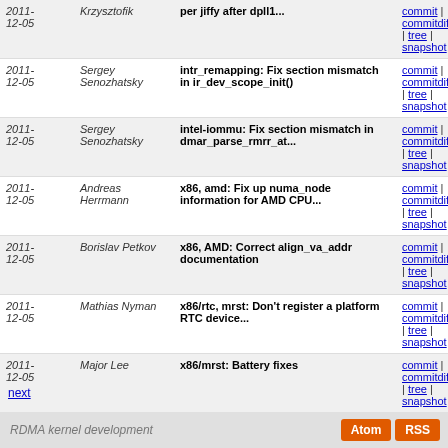| Date | Author | Message | Links |
| --- | --- | --- | --- |
| 2011-12-05 | Krzysztofik | per jiffy after dpll1... | commit | commitdiff | tree | snapshot |
| 2011-12-05 | Sergey Senozhatsky | intr_remapping: Fix section mismatch in ir_dev_scope_init() | commit | commitdiff | tree | snapshot |
| 2011-12-05 | Sergey Senozhatsky | intel-iommu: Fix section mismatch in dmar_parse_rmrr_at... | commit | commitdiff | tree | snapshot |
| 2011-12-05 | Andreas Herrmann | x86, amd: Fix up numa_node information for AMD CPU... | commit | commitdiff | tree | snapshot |
| 2011-12-05 | Borislav Petkov | x86, AMD: Correct align_va_addr documentation | commit | commitdiff | tree | snapshot |
| 2011-12-05 | Mathias Nyman | x86/rtc, mrst: Don't register a platform RTC device... | commit | commitdiff | tree | snapshot |
| 2011-12-05 | Major Lee | x86/mrst: Battery fixes | commit | commitdiff | tree | snapshot |
| 2011-12-05 | Konrad Rzeszutek... | x86/paravirt: PTE updates in k(un)map_atomic need to... | commit | commitdiff | tree | snapshot |
| 2011-12-05 | John W. Linville | Merge branch 'master' of git://git./linux/kernel/git... | commit | commitdiff | tree | snapshot |
next
RDMA kernel development